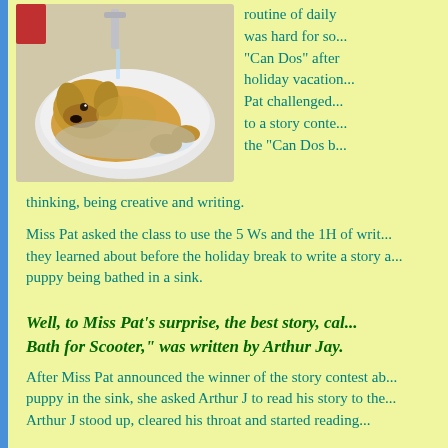[Figure (photo): A golden retriever puppy lying in a white bathroom sink being bathed, with water running from the faucet]
routine of daily ... was hard for so... "Can Dos" after holiday vacation... Pat challenged... to a story conte... the "Can Dos b... thinking, being creative and writing.
Miss Pat asked the class to use the 5 Ws and the 1H of writ... they learned about before the holiday break to write a story a... puppy being bathed in a sink.
Well, to Miss Pat's surprise, the best story, cal... Bath for Scooter," was written by Arthur Jay.
After Miss Pat announced the winner of the story contest ab... puppy in the sink, she asked Arthur J to read his story to the... Arthur J stood up, cleared his throat and started reading...